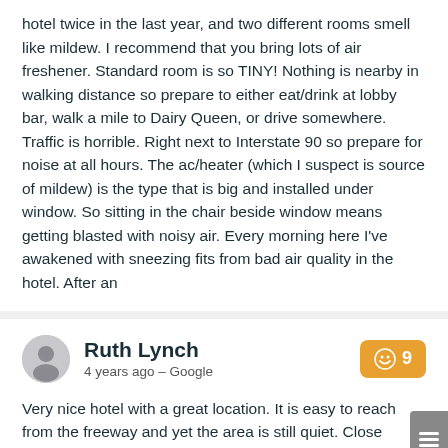hotel twice in the last year, and two different rooms smell like mildew. I recommend that you bring lots of air freshener. Standard room is so TINY! Nothing is nearby in walking distance so prepare to either eat/drink at lobby bar, walk a mile to Dairy Queen, or drive somewhere. Traffic is horrible. Right next to Interstate 90 so prepare for noise at all hours. The ac/heater (which I suspect is source of mildew) is the type that is big and installed under window. So sitting in the chair beside window means getting blasted with noisy air. Every morning here I've awakened with sneezing fits from bad air quality in the hotel. After an
Ruth Lynch
4 years ago – Google
9
Very nice hotel with a great location. It is easy to reach from the freeway and yet the area is still quiet. Close enough to Seattle to attend events there without a long